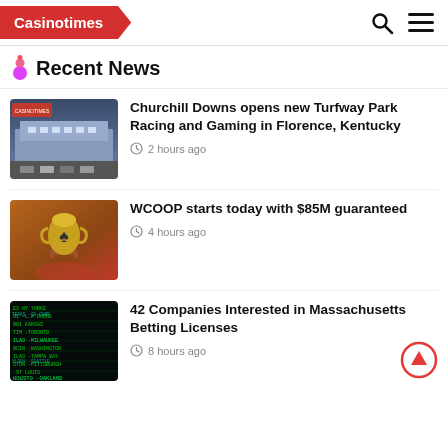Casinotimes
Recent News
[Figure (photo): Exterior photo of Turfway Park Racing and Gaming facility at night]
Churchill Downs opens new Turfway Park Racing and Gaming in Florence, Kentucky
2 hours ago
[Figure (photo): Trophy for WCOOP poker tournament]
WCOOP starts today with $85M guaranteed
4 hours ago
[Figure (photo): Sports betting data display with city names and statistics on dark background]
42 Companies Interested in Massachusetts Betting Licenses
8 hours ago